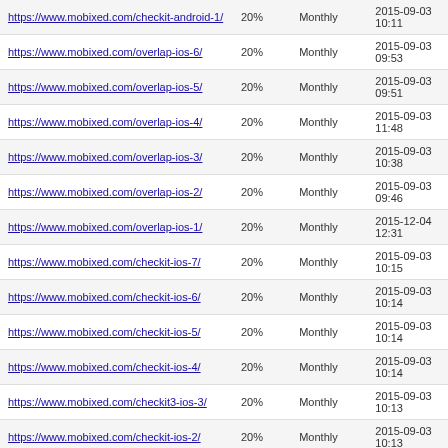| URL | Priority | Change Frequency | Last Modified |
| --- | --- | --- | --- |
| https://www.mobixed.com/checkit-android-1/ | 20% | Monthly | 2015-09-03 10:11 |
| https://www.mobixed.com/overlap-ios-6/ | 20% | Monthly | 2015-09-03 09:53 |
| https://www.mobixed.com/overlap-ios-5/ | 20% | Monthly | 2015-09-03 09:51 |
| https://www.mobixed.com/overlap-ios-4/ | 20% | Monthly | 2015-09-03 11:48 |
| https://www.mobixed.com/overlap-ios-3/ | 20% | Monthly | 2015-09-03 10:38 |
| https://www.mobixed.com/overlap-ios-2/ | 20% | Monthly | 2015-09-03 09:46 |
| https://www.mobixed.com/overlap-ios-1/ | 20% | Monthly | 2015-12-04 12:31 |
| https://www.mobixed.com/checkit-ios-7/ | 20% | Monthly | 2015-09-03 10:15 |
| https://www.mobixed.com/checkit-ios-6/ | 20% | Monthly | 2015-09-03 10:14 |
| https://www.mobixed.com/checkit-ios-5/ | 20% | Monthly | 2015-09-03 10:14 |
| https://www.mobixed.com/checkit-ios-4/ | 20% | Monthly | 2015-09-03 10:14 |
| https://www.mobixed.com/checkit3-ios-3/ | 20% | Monthly | 2015-09-03 10:13 |
| https://www.mobixed.com/checkit-ios-2/ | 20% | Monthly | 2015-09-03 10:13 |
| https://www.mobixed.com/checkit-ios-1/ | 20% | Monthly | 2015-09-03 10:12 |
Generated with Google (XML) Sitemaps Generator Plugin for WordPress by Auctollo. This XSLT template is released under the GPL and free to use.
If you have problems with your sitemap please visit the support forum.